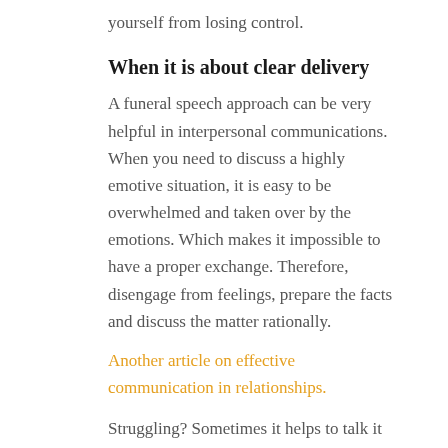yourself from losing control.
When it is about clear delivery
A funeral speech approach can be very helpful in interpersonal communications. When you need to discuss a highly emotive situation, it is easy to be overwhelmed and taken over by the emotions. Which makes it impossible to have a proper exchange. Therefore, disengage from feelings, prepare the facts and discuss the matter rationally.
Another article on effective communication in relationships.
Struggling? Sometimes it helps to talk it through. You can book a free coaching call with me by clicking here.